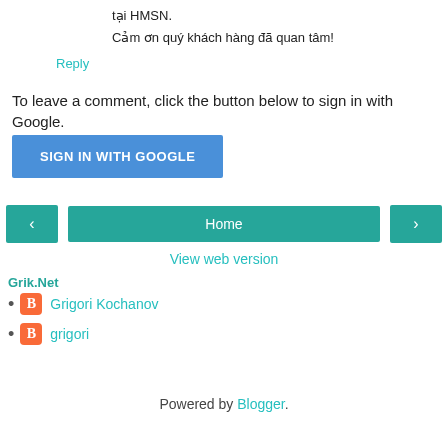tại HMSN.
Cảm ơn quý khách hàng đã quan tâm!
Reply
To leave a comment, click the button below to sign in with Google.
[Figure (other): SIGN IN WITH GOOGLE button (blue)]
[Figure (other): Navigation bar with left arrow, Home, and right arrow buttons]
View web version
Grik.Net
Grigori Kochanov
grigori
Powered by Blogger.